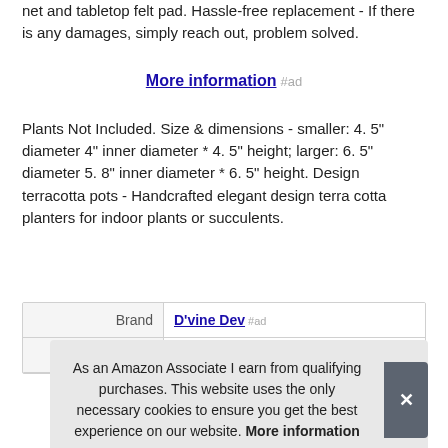net and tabletop felt pad. Hassle-free replacement - If there is any damages, simply reach out, problem solved.
More information #ad
Plants Not Included. Size & dimensions - smaller: 4. 5" diameter 4" inner diameter * 4. 5" height; larger: 6. 5" diameter 5. 8" inner diameter * 6. 5" height. Design terracotta pots - Handcrafted elegant design terra cotta planters for indoor plants or succulents.
| Brand | Value |
| --- | --- |
| Brand | D'vine Dev #ad |
| Manufacturer | D'vine Dev... |
As an Amazon Associate I earn from qualifying purchases. This website uses the only necessary cookies to ensure you get the best experience on our website. More information